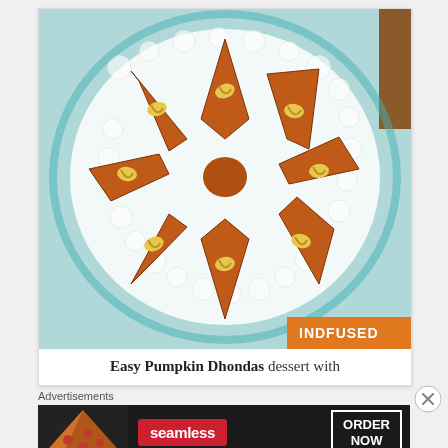[Figure (photo): Diamond-shaped pumpkin dhondas (Indian dessert) pieces arranged in a star/flower pattern on a decorative white lace doily on a turquoise plate, each piece topped with a cashew nut. An orange INDFUSED watermark badge is in the bottom-right corner of the image.]
Easy Pumpkin Dhondas dessert with
Advertisements
[Figure (photo): Seamless food delivery advertisement banner with a pizza image on the left, red Seamless logo in the center, and ORDER NOW button on the right, on a dark background.]